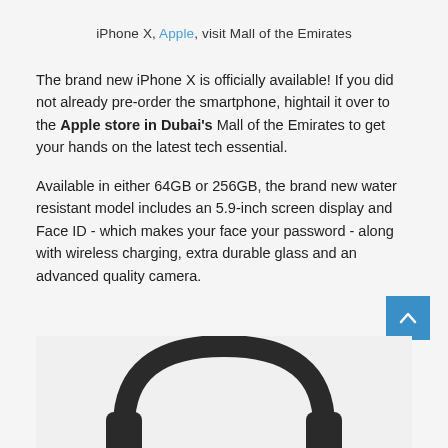iPhone X, Apple, visit Mall of the Emirates
The brand new iPhone X is officially available! If you did not already pre-order the smartphone, hightail it over to the Apple store in Dubai's Mall of the Emirates to get your hands on the latest tech essential.
Available in either 64GB or 256GB, the brand new water resistant model includes an 5.9-inch screen display and Face ID - which makes your face your password - along with wireless charging, extra durable glass and an advanced quality camera.
[Figure (photo): Bottom portion of black over-ear headphones visible at the bottom of the page]